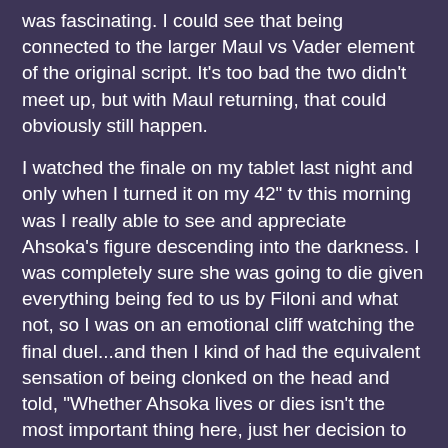was fascinating. I could see that being connected to the larger Maul vs Vader element of the original script. It's too bad the two didn't meet up, but with Maul returning, that could obviously still happen.
I watched the finale on my tablet last night and only when I turned it on my 42" tv this morning was I really able to see and appreciate Ahsoka's figure descending into the darkness. I was completely sure she was going to die given everything being fed to us by Filoni and what not, so I was on an emotional cliff watching the final duel...and then I kind of had the equivalent sensation of being clonked on the head and told, "Whether Ahsoka lives or dies isn't the most important thing here, just her decision to remain." I'm still kind of mixed because the ending, as is, essentially puts us back into the very same place we were when The Clone Wars ended - what is the fate of Ahsoka Tano?
posted by Atreides at 8:06 AM on March 31, 2016